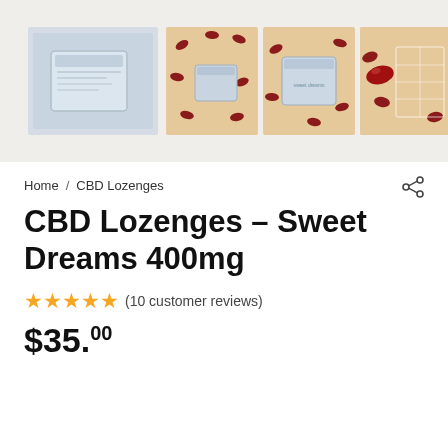[Figure (photo): Product image gallery showing CBD Lozenges packaging: main image of a silver mylar bag on white/light blue background, followed by three thumbnail images showing the bag and red capsule lozenges on a beige/tan background]
Home / CBD Lozenges
CBD Lozenges – Sweet Dreams 400mg
★★★★★ (10 customer reviews)
$35.00